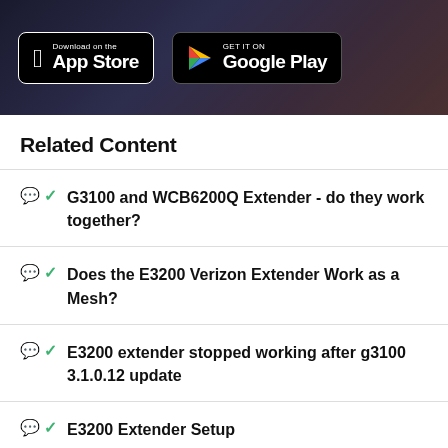[Figure (screenshot): App Store and Google Play download badges on dark gradient background]
Related Content
G3100 and WCB6200Q Extender - do they work together?
Does the E3200 Verizon Extender Work as a Mesh?
E3200 extender stopped working after g3100 3.1.0.12 update
E3200 Extender Setup
E3200 Extender Blinking Yellow light and N...